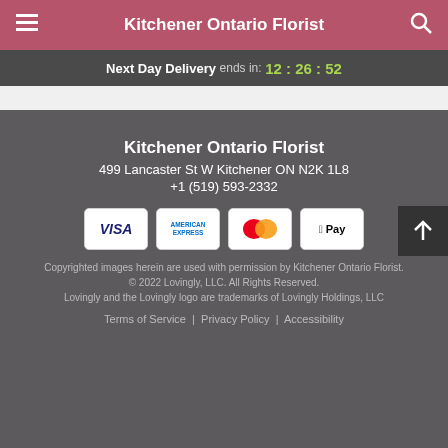Kitchener Ontario Florist
Next Day Delivery ends in: 12 : 26 : 52
Kitchener Ontario Florist
499 Lancaster St W Kitchener ON N2K 1L8
+1 (519) 593-2332
[Figure (logo): Payment method icons: Visa, American Express, Mastercard, Apple Pay]
Copyrighted images herein are used with permission by Kitchener Ontario Florist. © 2022 Lovingly, LLC. All Rights Reserved. Lovingly and the Lovingly logo are trademarks of Lovingly Holdings, LLC
Terms of Service | Privacy Policy | Accessibility